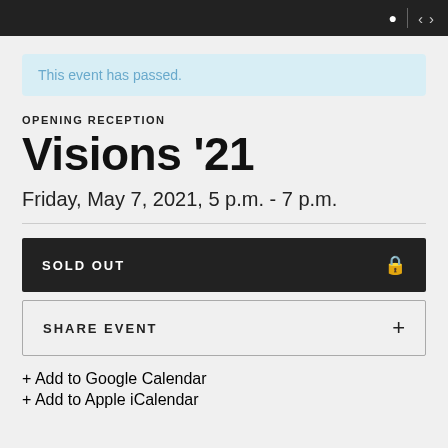This event has passed.
OPENING RECEPTION
Visions '21
Friday, May 7, 2021, 5 p.m. - 7 p.m.
SOLD OUT
SHARE EVENT
+ Add to Google Calendar
+ Add to Apple iCalendar